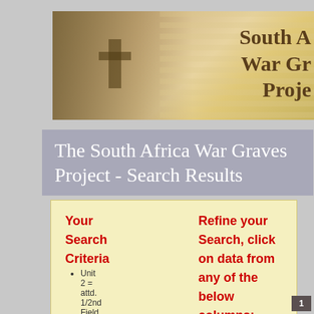[Figure (illustration): South Africa War Graves Project banner with soldier silhouette, cross, flag, and serif title text partially visible on right]
The South Africa War Graves Project - Search Results
Your Search Criteria
Unit 2 = attd. 1/2nd Field Force
Refine your Search, click on data from any of the below columns:
Regiment
Unit
Cemetery
1